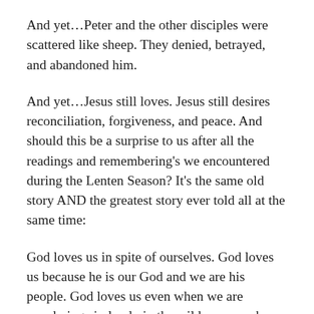And yet…Peter and the other disciples were scattered like sheep. They denied, betrayed, and abandoned him.
And yet…Jesus still loves. Jesus still desires reconciliation, forgiveness, and peace. And should this be a surprise to us after all the readings and remembering's we encountered during the Lenten Season? It's the same old story AND the greatest story ever told all at the same time:
God loves us in spite of ourselves. God loves us because he is our God and we are his people. God loves us even when we are wandering aimlessly in the wilderness:  when we deny him, when we abandon him, when we hurt him. In those dark moments in our lives and when the stone tombs of our own hearts remain closed, it is he